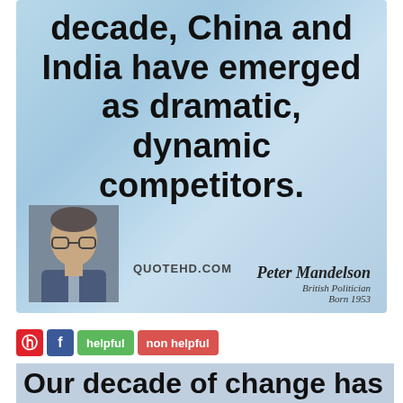[Figure (illustration): Quote card with light blue gradient background showing partial quote text 'decade, China and India have emerged as dramatic, dynamic competitors.' with a photo of Peter Mandelson (British Politician, Born 1953) in the bottom left and QUOTEHD.COM watermark]
helpful | non helpful (social sharing buttons: Pinterest, Facebook)
Our decade of change has